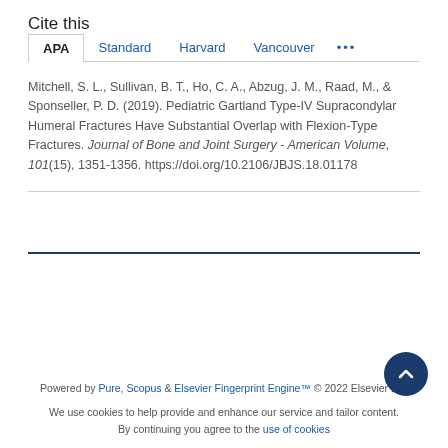Cite this
APA  Standard  Harvard  Vancouver  ...
Mitchell, S. L., Sullivan, B. T., Ho, C. A., Abzug, J. M., Raad, M., & Sponseller, P. D. (2019). Pediatric Gartland Type-IV Supracondylar Humeral Fractures Have Substantial Overlap with Flexion-Type Fractures. Journal of Bone and Joint Surgery - American Volume, 101(15), 1351-1356. https://doi.org/10.2106/JBJS.18.01178
Powered by Pure, Scopus & Elsevier Fingerprint Engine™ © 2022 Elsevier B.V
We use cookies to help provide and enhance our service and tailor content. By continuing you agree to the use of cookies